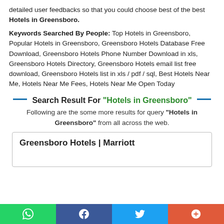detailed user feedbacks so that you could choose best of the best Hotels in Greensboro.
Keywords Searched By People: Top Hotels in Greensboro, Popular Hotels in Greensboro, Greensboro Hotels Database Free Download, Greensboro Hotels Phone Number Download in xls, Greensboro Hotels Directory, Greensboro Hotels email list free download, Greensboro Hotels list in xls / pdf / sql, Best Hotels Near Me, Hotels Near Me Fees, Hotels Near Me Open Today
— Search Result For "Hotels in Greensboro" —
Following are the some more results for query "Hotels in Greensboro" from all across the web.
Greensboro Hotels | Marriott